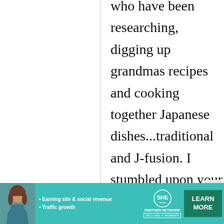who have been researching, digging up grandmas recipes and cooking together Japanese dishes...traditional and J-fusion. I stumbled upon your site while researching one day and love it!
[Figure (infographic): SHE Media Partner Network advertisement banner with a woman photo, bullet points about earning site & social revenue and traffic growth, SHE logo, and a Learn More button]